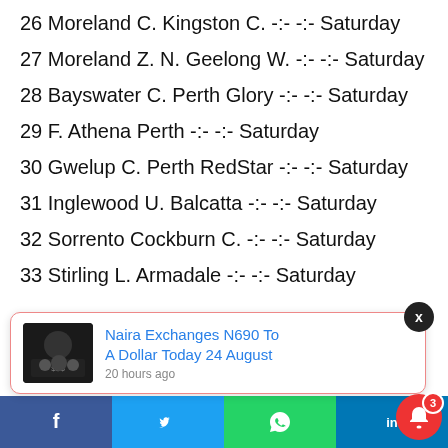26 Moreland C. Kingston C. -:- -:- Saturday
27 Moreland Z. N. Geelong W. -:- -:- Saturday
28 Bayswater C. Perth Glory -:- -:- Saturday
29 F. Athena Perth -:- -:- Saturday
30 Gwelup C. Perth RedStar -:- -:- Saturday
31 Inglewood U. Balcatta -:- -:- Saturday
32 Sorrento Cockburn C. -:- -:- Saturday
33 Stirling L. Armadale -:- -:- Saturday
[Figure (screenshot): Notification popup: Naira Exchanges N690 To A Dollar Today 24 August, 20 hours ago, with a thumbnail image of money]
Facebook | Twitter | WhatsApp | LinkedIn social share bar